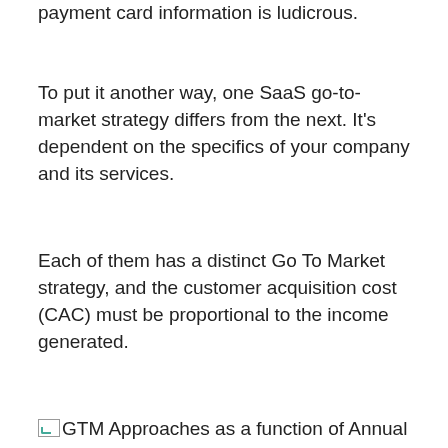payment card information is ludicrous.
To put it another way, one SaaS go-to-market strategy differs from the next. It's dependent on the specifics of your company and its services.
Each of them has a distinct Go To Market strategy, and the customer acquisition cost (CAC) must be proportional to the income generated.
[Figure (other): Broken image placeholder for 'GTM Approaches as a function of Annual Contract Value']
GTM Approaches as a Function of Annual Contract Value (Figure 4)